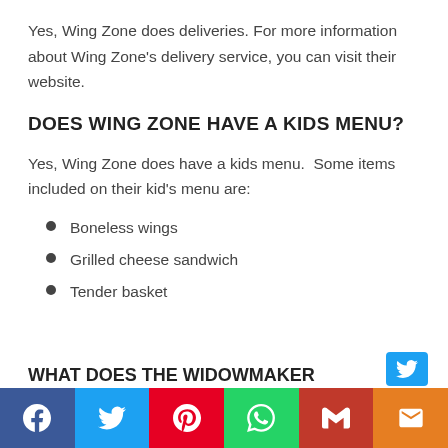Yes, Wing Zone does deliveries. For more information about Wing Zone's delivery service, you can visit their website.
DOES WING ZONE HAVE A KIDS MENU?
Yes, Wing Zone does have a kids menu.  Some items included on their kid's menu are:
Boneless wings
Grilled cheese sandwich
Tender basket
WHAT DOES THE WIDOWMAKER